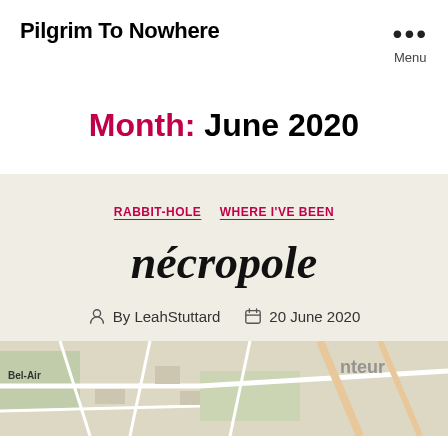Pilgrim To Nowhere
Month: June 2020
RABBIT-HOLE   WHERE I'VE BEEN
nécropole
By LeahStuttard   20 June 2020
[Figure (map): A street map image showing area with labels including Bel-Air and partial text 'nteur']